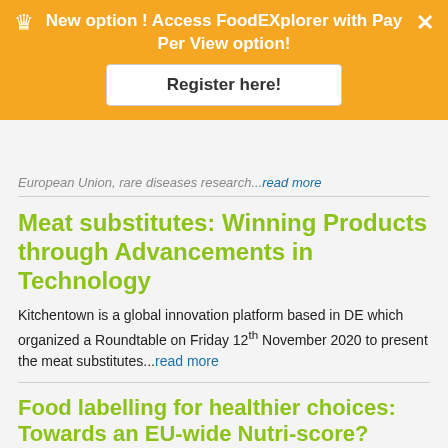[Figure (screenshot): Orange promotional banner with crown icon, close button, text 'New option ! Access FoodEXplorer with Pay Per View option!' and a white 'Register here!' button]
European Union, rare diseases research...read more
Meat substitutes: Winning Products through Advancements in Technology
Kitchentown is a global innovation platform based in DE which organized a Roundtable on Friday 12th November 2020 to present the meat substitutes...read more
Food labelling for healthier choices: Towards an EU-wide Nutri-score?
The European Consumer Organisation (BEUC) hosted the second #ConsumerDebate to explore the viability on the Nutri-Score and its possible application EU-wide... read more